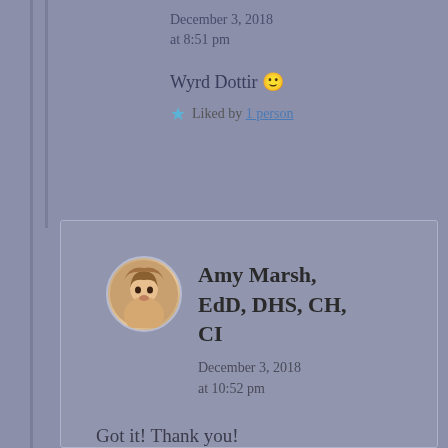December 3, 2018 at 8:51 pm
Wyrd Dottir 🙂
Liked by 1 person
Amy Marsh, EdD, DHS, CH, CI
December 3, 2018 at 10:52 pm
Got it! Thank you!
Like